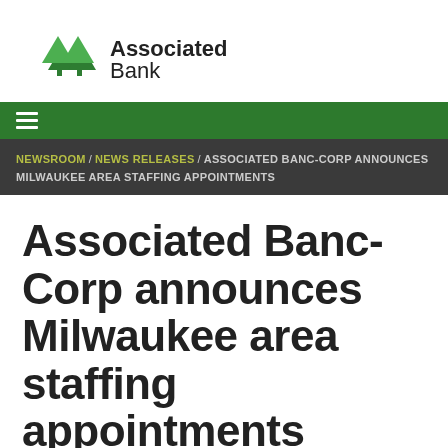[Figure (logo): Associated Bank logo with green tree icon and text 'Associated Bank']
≡
NEWSROOM / NEWS RELEASES / ASSOCIATED BANC-CORP ANNOUNCES MILWAUKEE AREA STAFFING APPOINTMENTS
Associated Banc-Corp announces Milwaukee area staffing appointments
Thursday, July 14, 2011 | New Hire Release, News Releases
Associated Banc-Corp announces Milwauke...